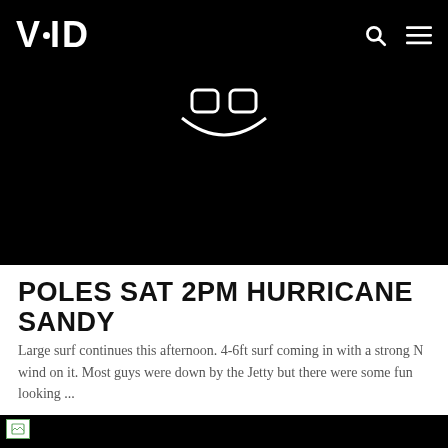VOID
[Figure (photo): Black background image with a Flickr-style icon (two rounded rectangles with a curved smile below) visible at the top center]
POLES SAT 2PM HURRICANE SANDY
Large surf continues this afternoon. 4-6ft surf coming in with a strong N wind on it. Most guys were down by the Jetty but there were some fun looking ...
[Figure (photo): Black image with a broken image icon in the top left corner, partially visible]